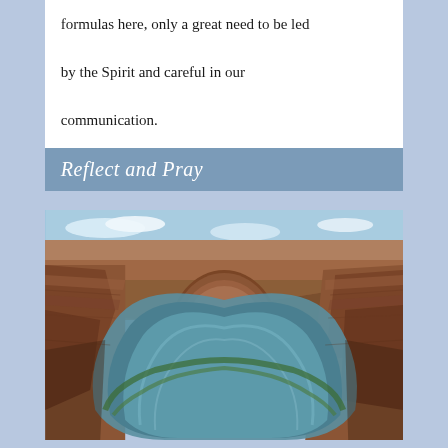formulas here, only a great need to be led by the Spirit and careful in our communication.
Reflect and Pray
[Figure (photo): Aerial photograph of Horseshoe Bend — a dramatic horseshoe-shaped meander of the Colorado River cut into red sandstone canyon walls, with turquoise-green water and blue sky above.]